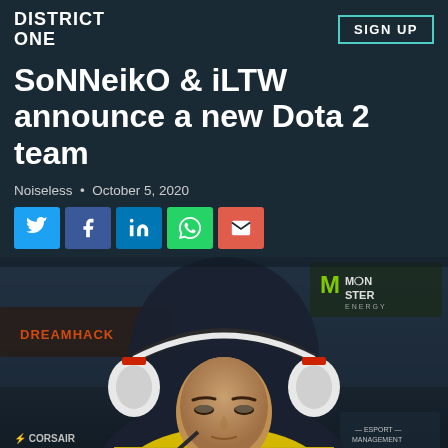DISTRICT ONE
SIGN UP
SoNNeikO & iLTW announce a new Dota 2 team
Noiseless • October 5, 2020
[Figure (other): Social share buttons: Twitter (blue), Facebook (blue), LinkedIn (blue), WhatsApp (green), Email (red)]
[Figure (photo): A young male esports player wearing a yellow hoodie and large white gaming headset with red accents, seated at a gaming station. DreamHack and Monster Energy banners visible in background, Corsair and Esport Management logos also visible.]